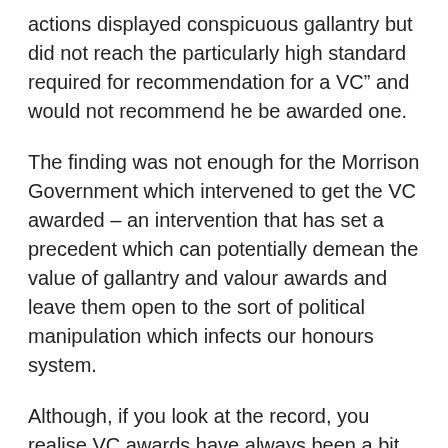actions displayed conspicuous gallantry but did not reach the particularly high standard required for recommendation for a VC" and would not recommend he be awarded one.
The finding was not enough for the Morrison Government which intervened to get the VC awarded – an intervention that has set a precedent which can potentially demean the value of gallantry and valour awards and leave them open to the sort of political manipulation which infects our honours system.
Although, if you look at the record, you realise VC awards have always been a bit anomalous.
During the Boer War there were around 16,000 Australian troops involved and six VCs were awarded – a ratio of one to every 2,666 involved.
There were 64 awarded in WWI with many of them at